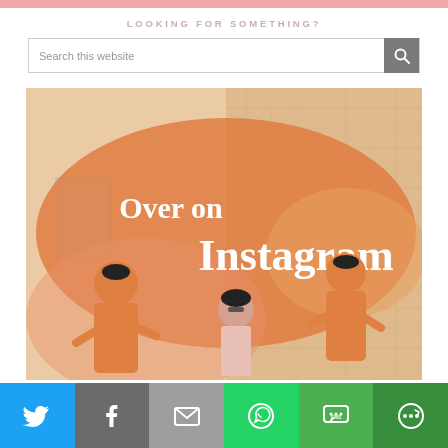LOOKING FOR SOMETHING?
Search this website
[Figure (illustration): Instagram promotional image showing 'Over on Instagram' text overlaid on an orange speech bubble shape, with illustrated figures of people in front of a painted mural wall, and a real photo of a woman in sunglasses standing in front of the mural.]
[Figure (infographic): Social media share bar with icons for Twitter (blue), Facebook (grey), Email (grey), WhatsApp (green), SMS (green), and More (dark green).]